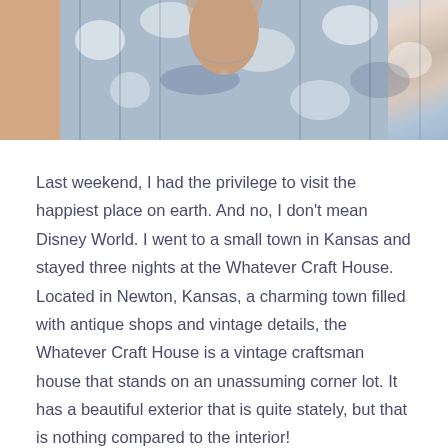[Figure (photo): Partial photo of a person wearing a blue and white tie-dye or plaid shirt, showing neck and upper chest area with a necklace]
Last weekend, I had the privilege to visit the happiest place on earth. And no, I don't mean Disney World. I went to a small town in Kansas and stayed three nights at the Whatever Craft House. Located in Newton, Kansas, a charming town filled with antique shops and vintage details, the Whatever Craft House is a vintage craftsman house that stands on an unassuming corner lot. It has a beautiful exterior that is quite stately, but that is nothing compared to the interior!